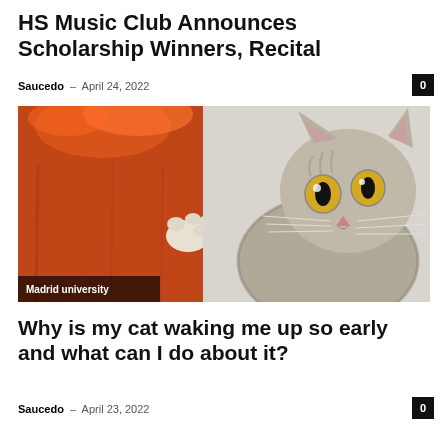HS Music Club Announces Scholarship Winners, Recital
Saucedo – April 24, 2022
[Figure (photo): A tabby cat with wide yellow eyes pawing at an orange knitted sweater being held by a person, with a semi-transparent label 'Madrid university' in the lower left corner.]
Madrid university
Why is my cat waking me up so early and what can I do about it?
Saucedo – April 23, 2022